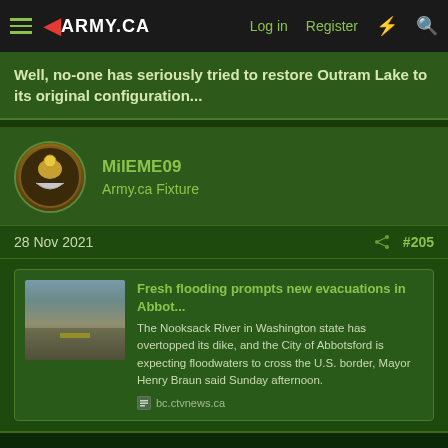ARMY.CA — Log in  Register
Well, no-one has seriously tried to restore Outram Lake to its original configuration...
MilEME09
Army.ca Fixture
28 Nov 2021  #205
[Figure (screenshot): Embedded link card with flooded road thumbnail image. Title: Fresh flooding prompts new evacuations in Abbot... Description: The Nooksack River in Washington state has overtopped its dike, and the City of Abbotsford is expecting floodwaters to cross the U.S. border, Mayor Henry Braun said Sunday afternoon. Source: bc.ctvnews.ca]
This site uses cookies to help personalise content, tailor your experience and to keep you logged in if you register.
By continuing to use this site, you are consenting to our use of cookies.
✓ Accept   Learn more...